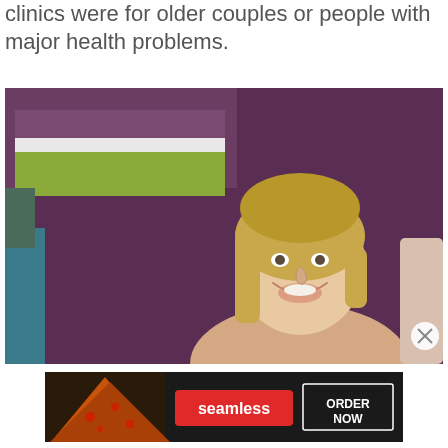clinics were for older couples or people with major health problems.
[Figure (photo): A smiling young blonde woman in a room with a purple wall and a colorful artwork (purple, white, green stripes) visible in the upper left. Partial view of another person on the right edge.]
[Figure (other): Seamless food delivery advertisement banner with pizza image on left, red 'seamless' logo in center, and 'ORDER NOW' button on right against dark background.]